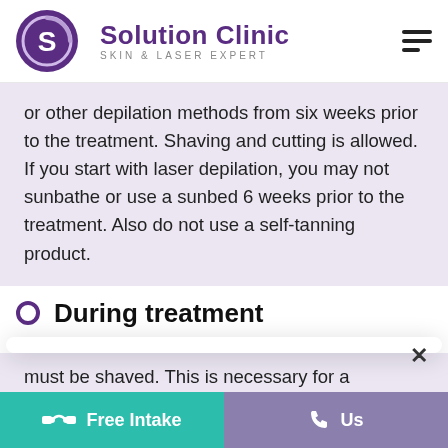[Figure (logo): Solution Clinic logo — purple circle with stylized S, company name in purple, subtitle SKIN & LASER EXPERT]
or other depilation methods from six weeks prior to the treatment. Shaving and cutting is allowed. If you start with laser depilation, you may not sunbathe or use a sunbed 6 weeks prior to the treatment. Also do not use a self-tanning product.
During treatment
must be shaved. This is necessary for a good heat distribution in the hair follic...
Free Intake   Us